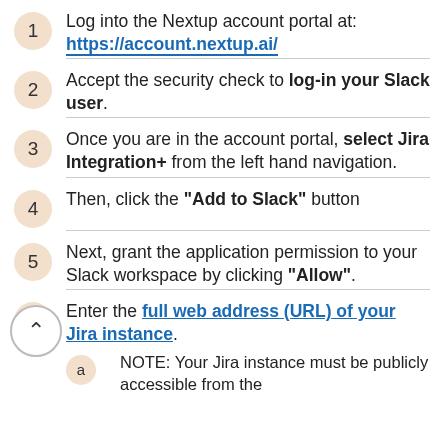1. Log into the Nextup account portal at: https://account.nextup.ai/
2. Accept the security check to log-in your Slack user.
3. Once you are in the account portal, select Jira Integration+ from the left hand navigation.
4. Then, click the "Add to Slack" button
5. Next, grant the application permission to your Slack workspace by clicking "Allow".
6. Enter the full web address (URL) of your Jira instance.
a. NOTE: Your Jira instance must be publicly accessible from the